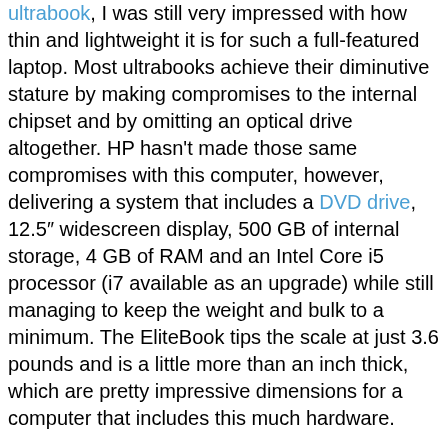ultrabook, I was still very impressed with how thin and lightweight it is for such a full-featured laptop. Most ultrabooks achieve their diminutive stature by making compromises to the internal chipset and by omitting an optical drive altogether. HP hasn't made those same compromises with this computer, however, delivering a system that includes a DVD drive, 12.5″ widescreen display, 500 GB of internal storage, 4 GB of RAM and an Intel Core i5 processor (i7 available as an upgrade) while still managing to keep the weight and bulk to a minimum. The EliteBook tips the scale at just 3.6 pounds and is a little more than an inch thick, which are pretty impressive dimensions for a computer that includes this much hardware.
Of course, all of that internal technology doesn't mean much if you don't have the battery power to keep it up and running for very long. But HP has managed to deliver in that department as well, giving the laptop plenty of juice. Out of the box, the EliteBook 2570p comes with a standard 6-cell battery that delivers more than nine hours of life. The unit I tested came with an extended 9-cell battery, which brought that time up to